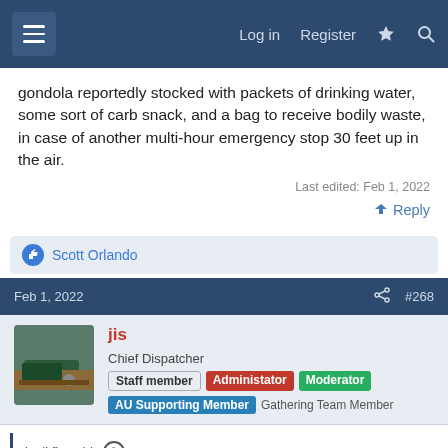Log in  Register
gondola reportedly stocked with packets of drinking water, some sort of carb snack, and a bag to receive bodily waste, in case of another multi-hour emergency stop 30 feet up in the air.
Last edited: Feb 1, 2022
↩ Reply
👍 Scott Orlando
Feb 1, 2022  #268
jis
Chief Dispatcher  Staff member  Administator  Moderator
AU Supporting Member  Gathering Team Member
joelkfla said: ↑
No, I was thinking more along the lines of a "To be opened only in case of emergency" locker filled with Armageddon-